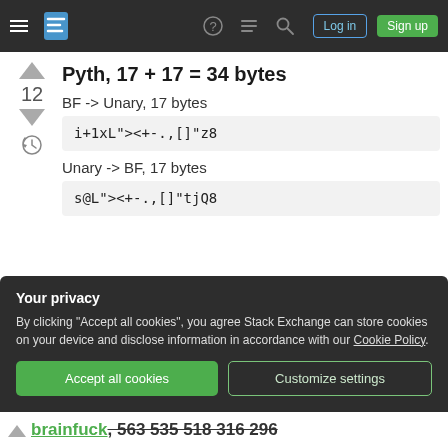Stack Exchange navigation bar with hamburger menu, logo, help, chat, search, log in, sign up
Pyth, 17 + 17 = 34 bytes
BF -> Unary, 17 bytes
i+1xL"><+-.,[]"z8
Unary -> BF, 17 bytes
s@L"><+-.,[]"tjQ8
Your privacy
By clicking "Accept all cookies", you agree Stack Exchange can store cookies on your device and disclose information in accordance with our Cookie Policy.
brainfuck, 563 535 518 316 296